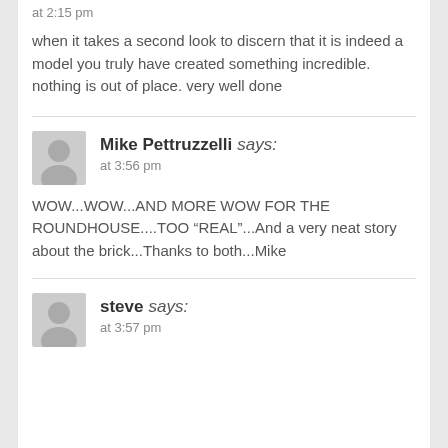at 2:15 pm
when it takes a second look to discern that it is indeed a model you truly have created something incredible. nothing is out of place. very well done
Mike Pettruzzelli says:
at 3:56 pm
WOW...WOW...AND MORE WOW FOR THE ROUNDHOUSE....TOO “REAL”...And a very neat story about the brick...Thanks to both...Mike
steve says:
at 3:57 pm